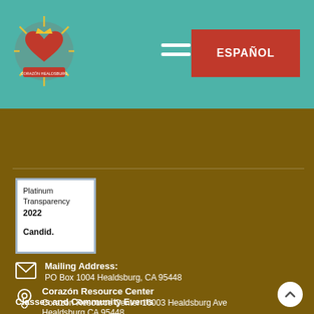[Figure (logo): Corazón Healdsburg circular logo with heart and decorative elements on teal background]
[Figure (other): Hamburger menu icon (two horizontal white bars) on teal background]
ESPAÑOL
[Figure (other): Platinum Transparency 2022 Candid. badge with light blue border]
Mailing Address: PO Box 1004 Healdsburg, CA 95448
Corazón Resource Center Corazón Resource Center 16003 Healdsburg Ave Healdsburg CA 95448
Classes and Community Events